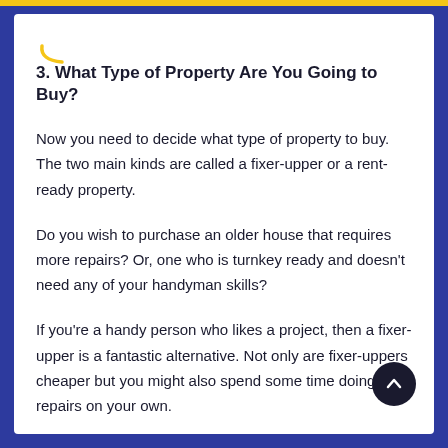3. What Type of Property Are You Going to Buy?
Now you need to decide what type of property to buy. The two main kinds are called a fixer-upper or a rent-ready property.
Do you wish to purchase an older house that requires more repairs? Or, one who is turnkey ready and doesn't need any of your handyman skills?
If you're a handy person who likes a project, then a fixer-upper is a fantastic alternative. Not only are fixer-uppers cheaper but you might also spend some time doing repairs on your own.